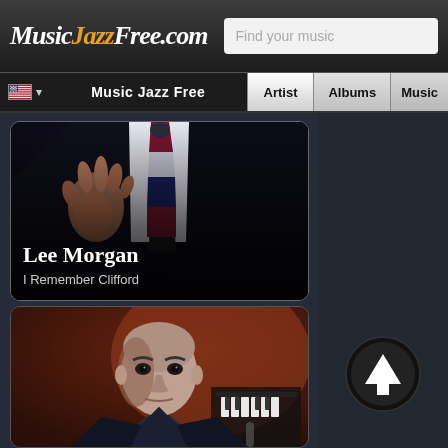MusicJazzFree.com | Find your music | Music Jazz Free | Artist | Albums | Music
[Figure (photo): Lee Morgan artist photo: torso of musician in dark suit with striped tie (burgundy, navy, white), one hand raised. Text overlay: Lee Morgan / I Remember Clifford]
[Figure (photo): Second jazz artist photo: bald man in dark suit looking intensely at camera, piano visible in background with reddish-brown tones]